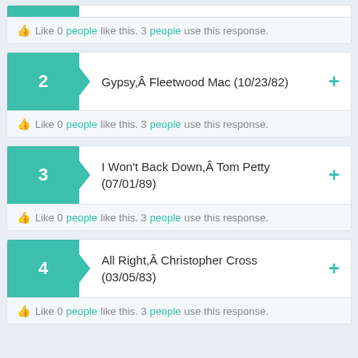Like 0 people like this. 3 people use this response.
2 Gypsy,Â Fleetwood Mac (10/23/82)
Like 0 people like this. 3 people use this response.
3 I Won't Back Down,Â Tom Petty (07/01/89)
Like 0 people like this. 3 people use this response.
4 All Right,Â Christopher Cross (03/05/83)
Like 0 people like this. 3 people use this response.